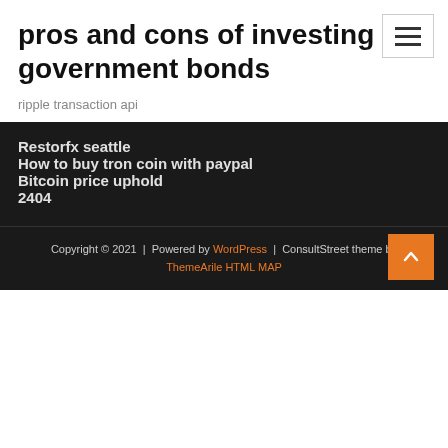pros and cons of investing in government bonds
ripple transaction api
Restorfx seattle
How to buy tron coin with paypal
Bitcoin price uphold
2404
Copyright © 2021 | Powered by WordPress | ConsultStreet theme by ThemeArile HTML MAP